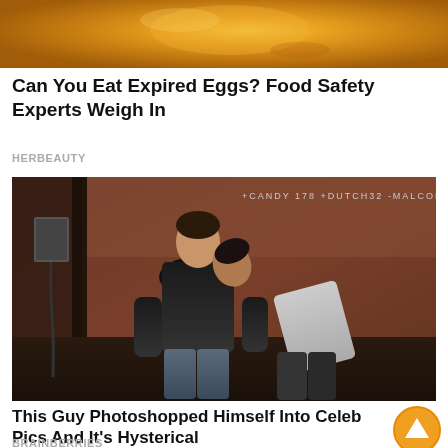[Figure (photo): Top portion of a photo showing a golden/orange liquid or egg yolk close-up]
Can You Eat Expired Eggs? Food Safety Experts Weigh In
HERBEAUTY
[Figure (photo): Photo of two men sitting against a wall with graffiti reading +CANDY 178 +DUTCH32 -MALCOLM3. One man in black sweater sits upright while another man in white shirt leans on his shoulder appearing to sleep.]
This Guy Photoshopped Himself Into Celeb Pics And It's Hysterical
BRAINBERRIES
[Figure (photo): Bottom portion of another article image showing dark background with blue/teal glowing elements]